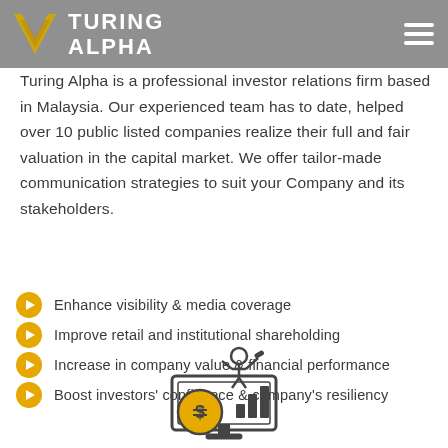TURING ALPHA
Turing Alpha is a professional investor relations firm based in Malaysia. Our experienced team has to date, helped over 10 public listed companies realize their full and fair valuation in the capital market. We offer tailor-made communication strategies to suit your Company and its stakeholders.
Enhance visibility & media coverage
Improve retail and institutional shareholding
Increase in company value & financial performance
Boost investors' confidence & company's resiliency
[Figure (illustration): Investor relations illustration showing a person holding up a dollar coin with a bar chart and a monitor on a desk]